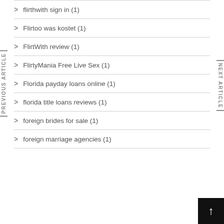flirthwith sign in (1)
Flirtoo was kostet (1)
FlirtWith review (1)
FlirtyMania Free Live Sex (1)
Florida payday loans online (1)
florida title loans reviews (1)
foreign brides for sale (1)
foreign marriage agencies (1)